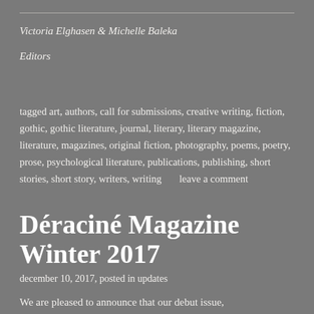Victoria Elghasen & Michelle Baleka
Editors
tagged art, authors, call for submissions, creative writing, fiction, gothic, gothic literature, journal, literary, literary magazine, literature, magazines, original fiction, photography, poems, poetry, prose, psychological literature, publications, publishing, short stories, short story, writers, writing      leave a comment
Déraciné Magazine Winter 2017
december 10, 2017, posted in updates
We are pleased to announce that our debut issue,